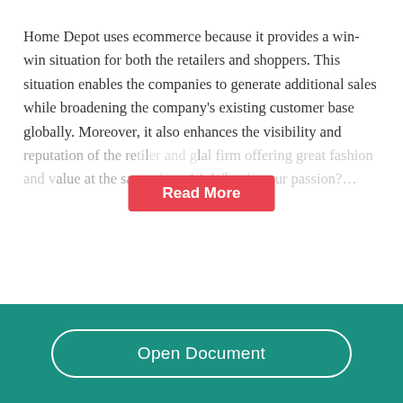Home Depot uses ecommerce because it provides a win-win situation for both the retailers and shoppers. This situation enables the companies to generate additional sales while broadening the company's existing customer base globally. Moreover, it also enhances the visibility and reputation of the retailer and global firm offering great fashion and value at the same time. 14. What is your passion?...
[Figure (other): Red 'Read More' button overlay centered on the text]
Open Document